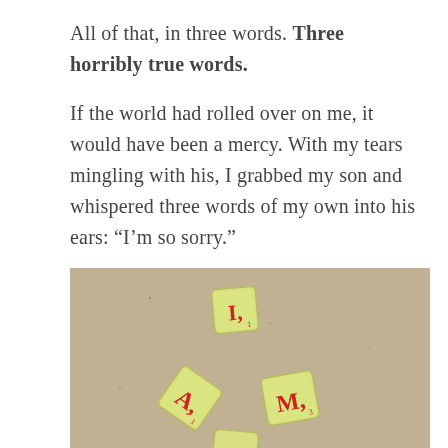All of that, in three words. Three horribly true words.

If the world had rolled over on me, it would have been a mercy. With my tears mingling with his, I grabbed my son and whispered three words of my own into his ears: “I’m so sorry.”
[Figure (photo): Photo of three Scrabble tiles on a brown/tan background. The tiles are yellow-green and show the letters I, A, M in red, with point values. The tiles are arranged loosely, not in a row.]